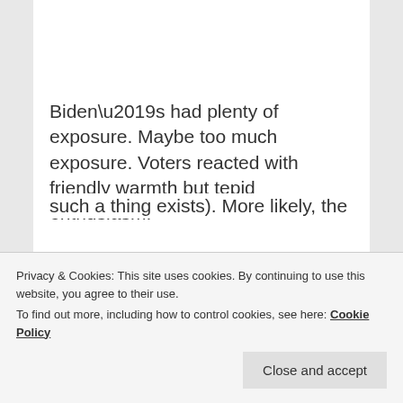— JOE BIDEN, Creative Commons
Biden’s had plenty of exposure. Maybe too much exposure. Voters reacted with friendly warmth but tepid enthusiasm.
It wasn’t so long ago that Bernie Sanders seemed destined to be
such a thing exists). More likely, the
Privacy & Cookies: This site uses cookies. By continuing to use this website, you agree to their use.
To find out more, including how to control cookies, see here: Cookie Policy